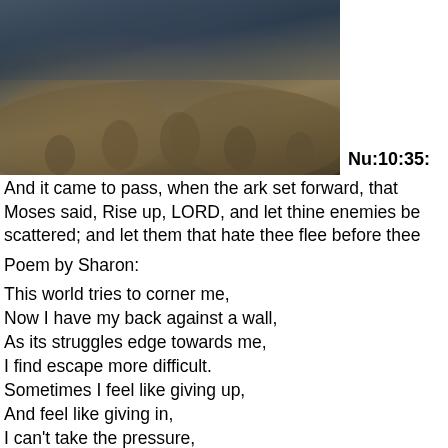[Figure (photo): A dramatic painting or image showing a large crowd of people, appearing to be in turmoil or battle, with dark stormy sky above.]
Nu:10:35:
And it came to pass, when the ark set forward, that Moses said, Rise up, LORD, and let thine enemies be scattered; and let them that hate thee flee before thee
Poem by Sharon:
This world tries to corner me,
Now I have my back against a wall,
As its struggles edge towards me,
I find escape more difficult.
Sometimes I feel like giving up,
And feel like giving in,
I can't take the pressure,
Lord, it's getting harder to stand.
What if it overtakes me?
What if I don't make it through?
The walls are ready to cave,
But though I don't know where else to move,
I know the time will come,
When You come to my rescue on that day,